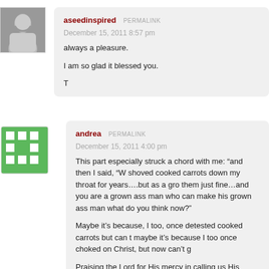[Figure (photo): Grayscale avatar photo of a person]
aseedinspired PERMALINK
December 15, 2011 8:57 pm
always a pleasure.
I am so glad it blessed you.
T
[Figure (logo): Green pixel/mosaic pattern avatar for user andrea]
andrea PERMALINK
December 15, 2011 4:00 pm
This part especially struck a chord with me: “and then I said, “W... shoved cooked carrots down my throat for years….but as a gro... them just fine…and you are a grown ass man who can make his... grown ass man what do you think now?”
Maybe it’s because, I too, once detested cooked carrots but can t... maybe it’s because I too once choked on Christ, but now can’t g...
Praising the Lord for His mercy in calling us His children.